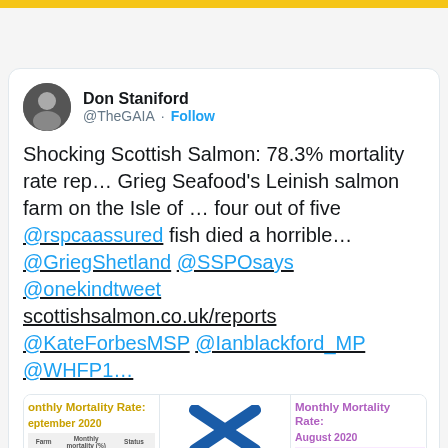Don Staniford @TheGAIA · Follow
Shocking Scottish Salmon: 78.3% mortality rate reported at Grieg Seafood's Leinish salmon farm on the Isle of … four out of five @rspcaassured fish died a horrible … @GriegShetland @SSPOsays @onekindtweet scottishsalmon.co.uk/reports @KateForbesMSP @Ianblackford_MP @WHFP1…
[Figure (screenshot): Preview images of two Scottish Salmon Producers Organisation reports showing Monthly Mortality Rate for September 2020 and August 2020, with tables listing farms, monthly mortality percentages, and status. SSPO logo visible in center.]